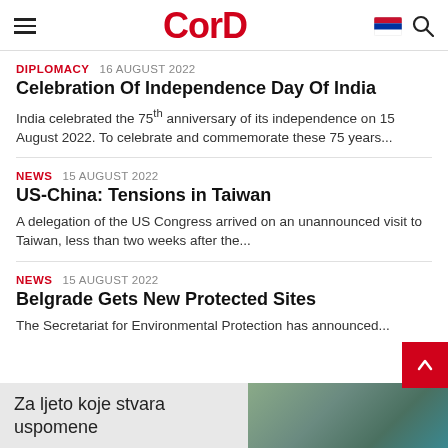CorD
DIPLOMACY  16 AUGUST 2022
Celebration Of Independence Day Of India
India celebrated the 75th anniversary of its independence on 15 August 2022. To celebrate and commemorate these 75 years...
NEWS  15 AUGUST 2022
US-China: Tensions in Taiwan
A delegation of the US Congress arrived on an unannounced visit to Taiwan, less than two weeks after the...
NEWS  15 AUGUST 2022
Belgrade Gets New Protected Sites
The Secretariat for Environmental Protection has announced...
[Figure (illustration): Advertisement banner: Za ljeto koje stvara uspomene, with image of building and pool]